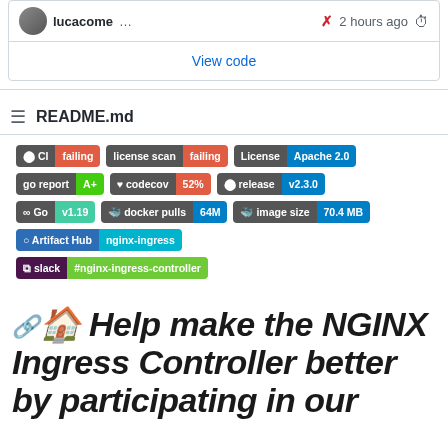lucacome ... ✗ 2 hours ago
View code
README.md
[Figure (infographic): Badge row with CI failing, license scan failing, License Apache 2.0, go report A+, codecov 52%, release v2.3.0, Go v1.19, docker pulls 64M, image size 70.4 MB, Artifact Hub nginx-ingress, slack #nginx-ingress-controller badges]
🔗 🏠 Help make the NGINX Ingress Controller better by participating in our survey!